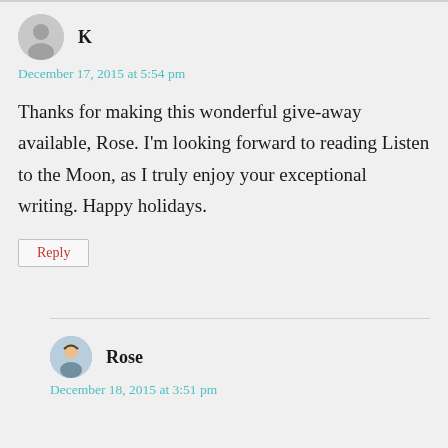K
December 17, 2015 at 5:54 pm
Thanks for making this wonderful give-away available, Rose. I'm looking forward to reading Listen to the Moon, as I truly enjoy your exceptional writing. Happy holidays.
Reply
Rose
December 18, 2015 at 3:51 pm